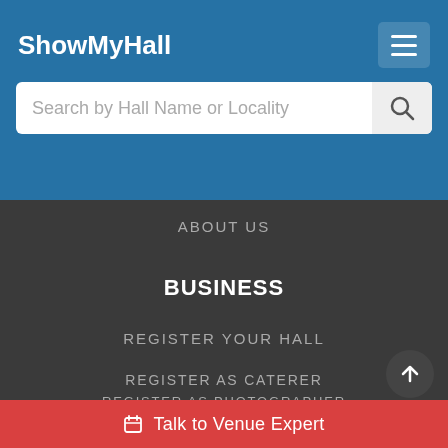ShowMyHall
Search by Hall Name or Locality
ABOUT US
BUSINESS
REGISTER YOUR HALL
REGISTER AS CATERER
REGISTER AS PHOTOGRAPHER
Talk to Venue Expert